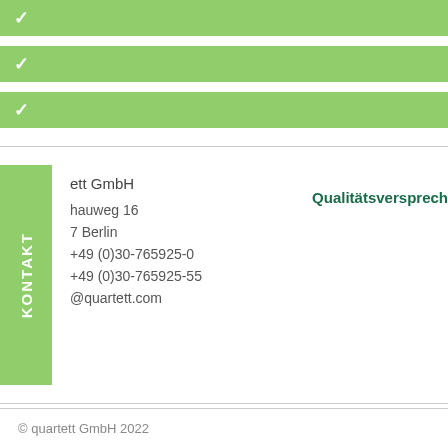▾
▾
▾
ett GmbH | Qualitätsversprechen (heading partially visible)
hauweg 16
7 Berlin
+49 (0)30-765925-0
+49 (0)30-765925-55
@quartett.com
© quartett GmbH 2022